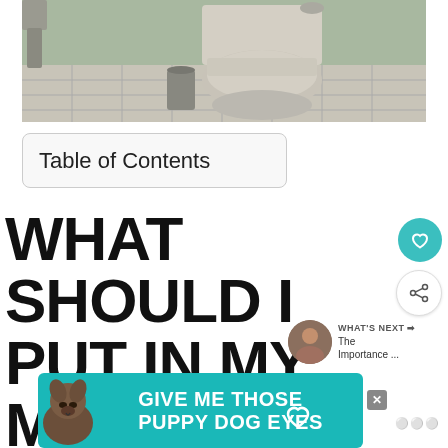[Figure (photo): Bathroom scene showing a toilet with green walls and tiled floor, small trash bin visible]
Table of Contents
WHAT SHOULD I PUT IN MY MEDICINE
[Figure (other): WHAT'S NEXT arrow icon with thumbnail image and text 'The Importance ...']
[Figure (other): Advertisement banner: GIVE ME THOSE PUPPY DOG EYES with dog image and heart icon, close button X]